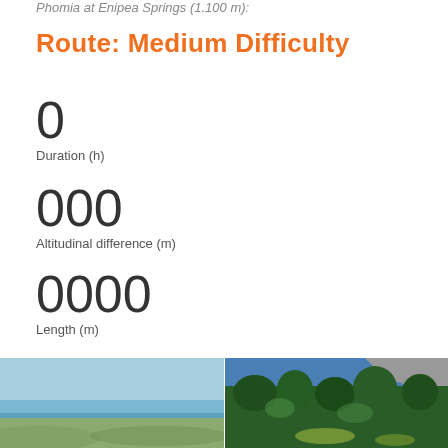Phomia at Enipea Springs (1.100 m):
Route: Medium Difficulty
0
Duration (h)
000
Altitudinal difference (m)
0000
Length (m)
[Figure (photo): Panoramic view of a coastal plain with blue sea and sky on the horizon]
[Figure (photo): Forest of pine trees with mountain peaks visible in background]